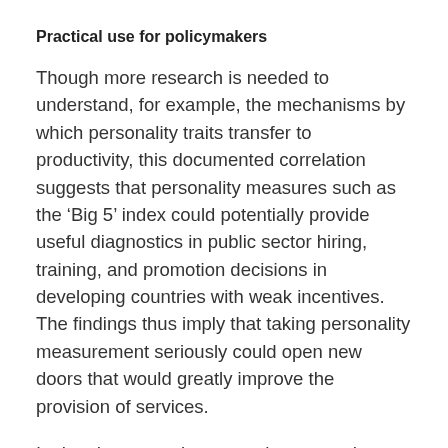Practical use for policymakers
Though more research is needed to understand, for example, the mechanisms by which personality traits transfer to productivity, this documented correlation suggests that personality measures such as the ‘Big 5’ index could potentially provide useful diagnostics in public sector hiring, training, and promotion decisions in developing countries with weak incentives. The findings thus imply that taking personality measurement seriously could open new doors that would greatly improve the provision of services.
In the short term, however, the research may have a more practical use. Generally, practitioners and researchers tend to focus on reforms that strengthen incentives. Our findings